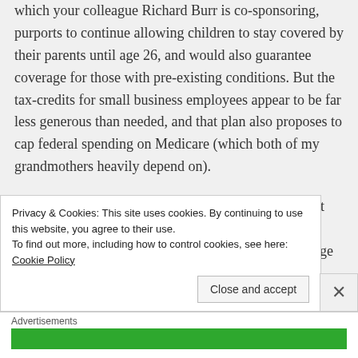which your colleague Richard Burr is co-sponsoring, purports to continue allowing children to stay covered by their parents until age 26, and would also guarantee coverage for those with pre-existing conditions. But the tax-credits for small business employees appear to be far less generous than needed, and that plan also proposes to cap federal spending on Medicare (which both of my grandmothers heavily depend on).
For all of the good the ACA does, is it not easier to sit down with your colleagues and correct the law's shortcomings rather than repealing it altogether? I urge
Privacy & Cookies: This site uses cookies. By continuing to use this website, you agree to their use.
To find out more, including how to control cookies, see here: Cookie Policy
Close and accept
Advertisements